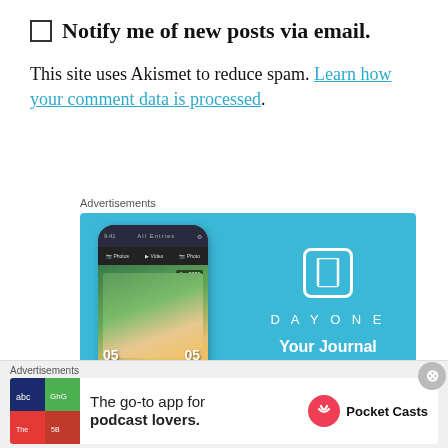Notify me of new posts via email.
This site uses Akismet to reduce spam. Learn how your comment data is processed.
Advertisements
[Figure (screenshot): Day One journaling app advertisement showing a smartphone with the app open and the text DAYONE Your Journal for life on a teal/blue background]
Advertisements
[Figure (screenshot): Pocket Casts advertisement: The go-to app for podcast lovers, with colorful tile logo and Pocket Casts branding]